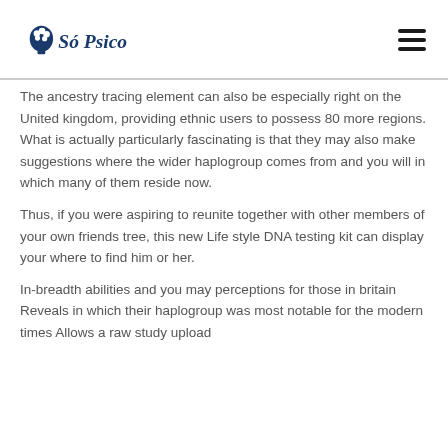Só Psico
The ancestry tracing element can also be especially right on the United kingdom, providing ethnic users to possess 80 more regions. What is actually particularly fascinating is that they may also make suggestions where the wider haplogroup comes from and you will in which many of them reside now.
Thus, if you were aspiring to reunite together with other members of your own friends tree, this new Life style DNA testing kit can display your where to find him or her.
In-breadth abilities and you may perceptions for those in britain Reveals in which their haplogroup was most notable for the modern times Allows a raw study upload